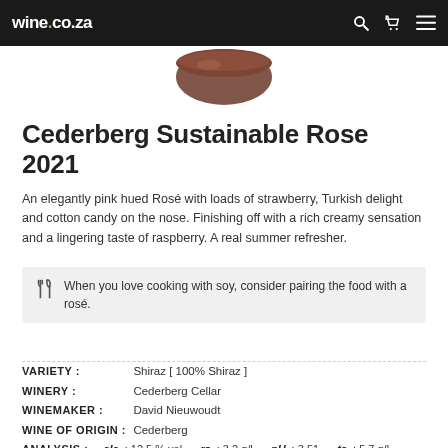wine.co.za
[Figure (photo): Bottom portion of a wine bottle with a dark/copper colored capsule, shown cropped against white background]
Cederberg Sustainable Rose 2021
An elegantly pink hued Rosé with loads of strawberry, Turkish delight and cotton candy on the nose. Finishing off with a rich creamy sensation and a lingering taste of raspberry. A real summer refresher.
When you love cooking with soy, consider pairing the food with a rosé.
VARIETY : Shiraz [ 100% Shiraz ]
WINERY : Cederberg Cellar
WINEMAKER : David Nieuwoudt
WINE OF ORIGIN : Cederberg
ANALYSIS : alc : 12.5 % vol   rs : 3.2 g/l   pH : 3.51   ta : 5.7 g/l